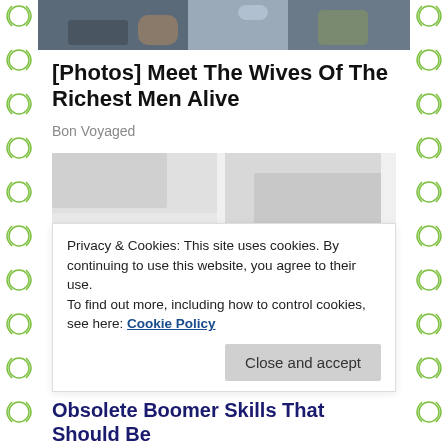[Figure (photo): Partial photo of people sitting, cropped at top of page]
[Photos] Meet The Wives Of The Richest Men Alive
Bon Voyaged
[Figure (photo): Blurred/loading image placeholder with grey blocks]
Privacy & Cookies: This site uses cookies. By continuing to use this website, you agree to their use.
To find out more, including how to control cookies, see here: Cookie Policy
Close and accept
Obsolete Boomer Skills That Should Be